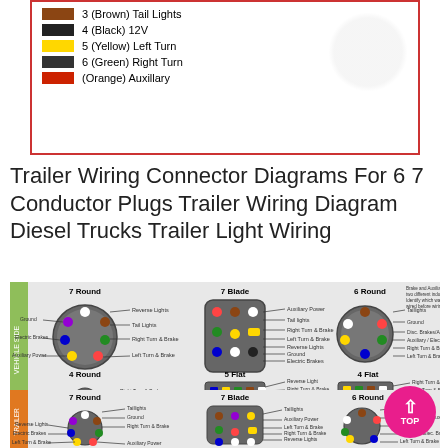[Figure (schematic): Trailer wiring connector legend showing wire color codes: 3 Brown Tail Lights, 4 Black 12V, 5 Yellow Left Turn, 6 Green Right Turn, Orange Auxiliary]
Trailer Wiring Connector Diagrams For 6 7 Conductor Plugs Trailer Wiring Diagram Diesel Trucks Trailer Light Wiring
[Figure (engineering-diagram): Vehicle side trailer wiring connector diagrams showing 7 Round, 7 Blade, 6 Round, 4 Round, 5 Flat, 4 Flat connectors with pin assignments for Reverse Lights, Ground, Tail Lights, Electric Brakes, Right Turn & Brake, Auxiliary Power, Left Turn & Brake, etc.]
[Figure (engineering-diagram): Trailer side wiring connector diagrams showing 7 Round, 7 Blade, 6 Round, 4 Round, 5 Flat, 4 Flat connectors with pin assignments (partial view)]